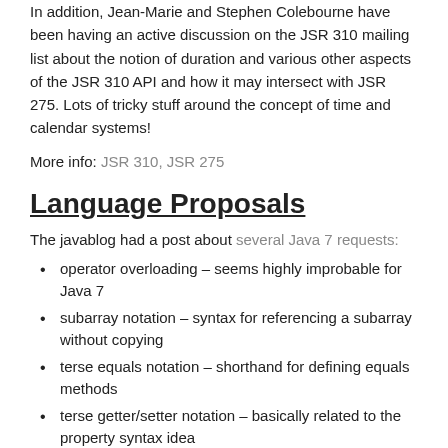In addition, Jean-Marie and Stephen Colebourne have been having an active discussion on the JSR 310 mailing list about the notion of duration and various other aspects of the JSR 310 API and how it may intersect with JSR 275. Lots of tricky stuff around the concept of time and calendar systems!
More info: JSR 310, JSR 275
Language Proposals
The javablog had a post about several Java 7 requests:
operator overloading – seems highly improbable for Java 7
subarray notation – syntax for referencing a subarray without copying
terse equals notation – shorthand for defining equals methods
terse getter/setter notation – basically related to the property syntax idea
SuffixTree based regex – this would be an extension to the regex library
Some continuation here...